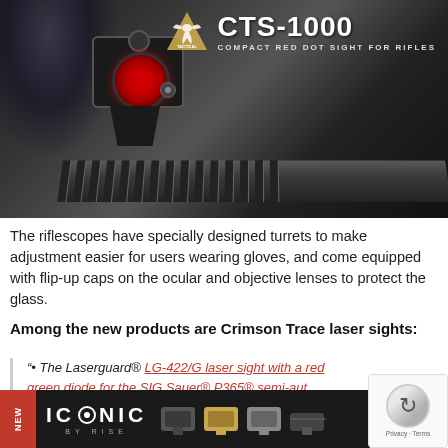[Figure (photo): Product photo of CTS-1000 Compact Red Dot Sight for Rifles mounted on a rifle rail, with a red lens visible. Tactical brand logo (triangle with eagle) and text 'CTS-1000 COMPACT RED DOT SIGHT FOR RIFLES' overlaid in top right corner. Dark background with person in background.]
The riflescopes have specially designed turrets to make adjustment easier for users wearing gloves, and come equipped with flip-up caps on the ocular and objective lenses to protect the glass.
Among the new products are Crimson Trace laser sights:
“• The Laserguard® LG-422/G laser sight with a red or green diode for the SIG Sauer® P365® semi-auto pistol…
• The…